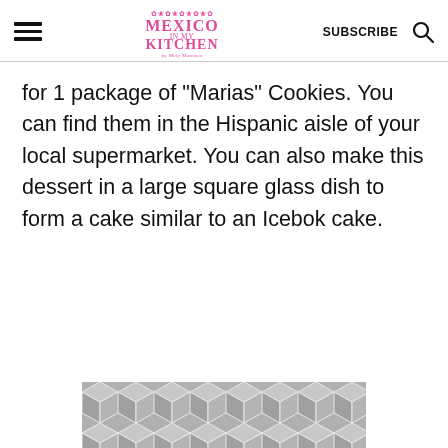Mexico in My Kitchen — SUBSCRIBE
for 1 package of "Marias" Cookies. You can find them in the Hispanic aisle of your local supermarket. You can also make this dessert in a large square glass dish to form a cake similar to an Icebok cake.
[Figure (photo): Partial view of a geometric hexagonal pattern image at the bottom of the page, gray and white tones.]